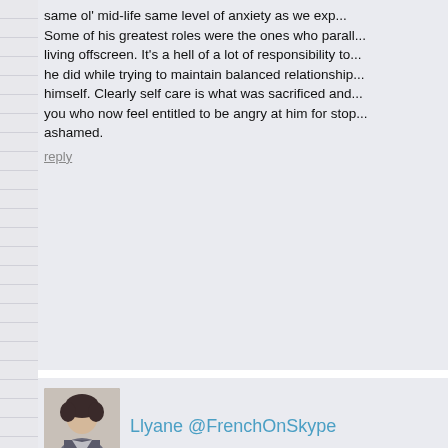same ol' mid-life same level of anxiety as we exp... Some of his greatest roles were the ones who parall... living offscreen. It's a hell of a lot of responsibility to... he did while trying to maintain balanced relationship... himself. Clearly self care is what was sacrificed and... you who now feel entitled to be angry at him for stop... ashamed.
reply
Llyane @FrenchOnSkype
Thank you for posting this and I'm in disbelief when... Anyway, I guess the majority rules in some cases to...
Wonderfully generous soul, Robin Williams made life... That is why we revere him and honour him – only he... sand would be oblivious to this reality.
Thank you again, Tom!
Check for yourself:
http://www.j-ouellette.com/rob.....ng-french/
reply